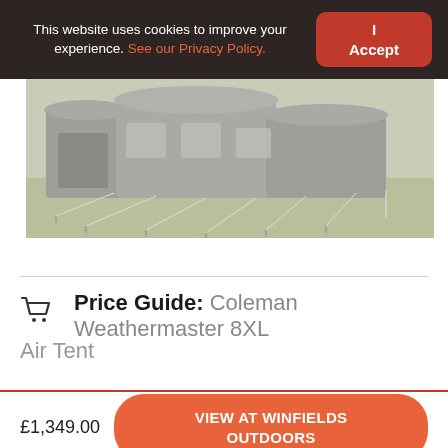This website uses cookies to improve your experience. See our Privacy Policy.
I Accept
[Figure (photo): Outdoor tent (Coleman Weathermaster 8XL Air Tent) pitched on grass, viewed from the side, showing the large inflatable tunnel structure with multiple sections and guy ropes.]
Price Guide: Coleman Weathermaster 8XL Air Tent
£1,349.00
VIEW AT WINFIELDS OUTDOORS